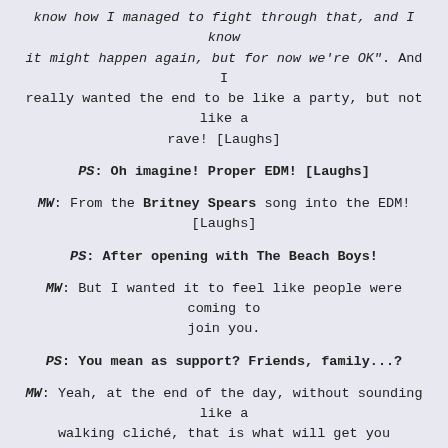know how I managed to fight through that, and I know it might happen again, but for now we're OK". And I really wanted the end to be like a party, but not like a rave! [Laughs]
PS: Oh imagine! Proper EDM! [Laughs]
MW: From the Britney Spears song into the EDM! [Laughs]
PS: After opening with The Beach Boys!
MW: But I wanted it to feel like people were coming to join you.
PS: You mean as support? Friends, family...?
MW: Yeah, at the end of the day, without sounding like a walking cliché, that is what will get you through. You can't do everything alone, and as a massive control freak that's quite a big admission! [laughs]